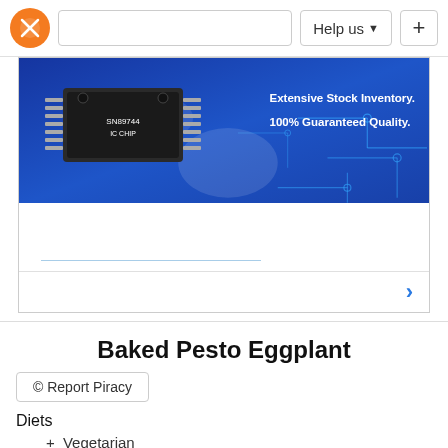Help us +
[Figure (screenshot): Advertisement banner for electronic components with a DIP IC chip image, circuit board graphic, blue background. Text reads: Extensive Stock Inventory. 100% Guaranteed Quality.]
Baked Pesto Eggplant
© Report Piracy
Diets
+ Vegetarian
Ingredients
Produce